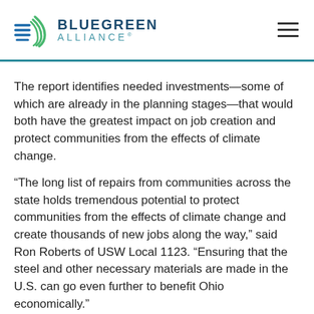BLUEGREEN ALLIANCE
The report identifies needed investments—some of which are already in the planning stages—that would both have the greatest impact on job creation and protect communities from the effects of climate change.
“The long list of repairs from communities across the state holds tremendous potential to protect communities from the effects of climate change and create thousands of new jobs along the way,” said Ron Roberts of USW Local 1123. “Ensuring that the steel and other necessary materials are made in the U.S. can go even further to benefit Ohio economically.”
The report, Repair Ohio: Creating Good Jobs While Preparing Our Infrastructure for Climate Change, identifies the number of direct jobs from affected sectors—such as construction,